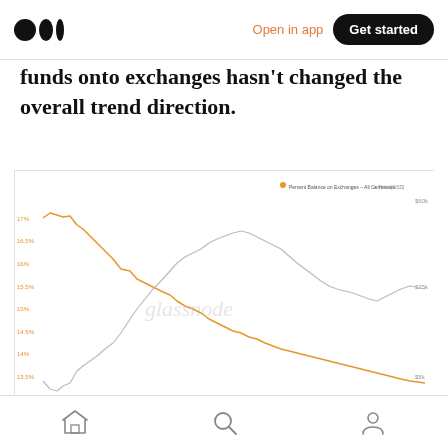Medium logo | Open in app | Get started
funds onto exchanges hasn't changed the overall trend direction.
[Figure (continuous-plot): Two-line continuous plot from Glassnode showing Bitcoin percent balance on all exchanges (orange line, declining trend from ~17% in 2020 to ~12% in 2022) and Bitcoin price in USD (grey line, rising from low then declining). X-axis shows dates from Mar '20 to Jan '22. Y-axis left shows percent balance, y-axis right shows price. Watermark 'glassnode' in center.]
© 2022 Glassnode. All Rights Reserved.    glassnode
Home | Search | Profile